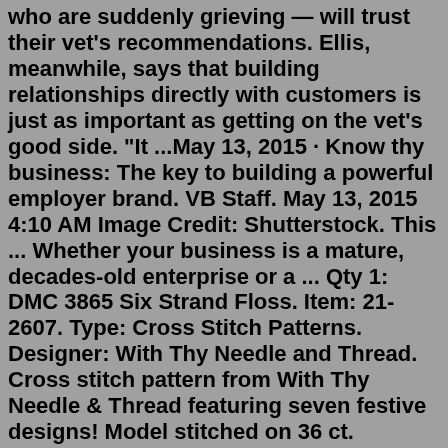who are suddenly grieving — will trust their vet's recommendations. Ellis, meanwhile, says that building relationships directly with customers is just as important as getting on the vet's good side. "It ...May 13, 2015 · Know thy business: The key to building a powerful employer brand. VB Staff. May 13, 2015 4:10 AM Image Credit: Shutterstock. This ... Whether your business is a mature, decades-old enterprise or a ... Qty 1: DMC 3865 Six Strand Floss. Item: 21-2607. Type: Cross Stitch Patterns. Designer: With Thy Needle and Thread. Cross stitch pattern from With Thy Needle & Thread featuring seven festive designs! Model stitched on 36 ct. Patriot's brew linen using DMC floss. Stitch count is 91 x 45. from United States on 08/02/2022. from United States on 07 ...Feb 01, 2006 · business - Know Thy Worth - Entrepreneur.com. Determining Your Company's Value If you want to get the right valuation for your business, be sure to find the right valuation expert for the job. Read user reviews for Turkish Airlines Airbus